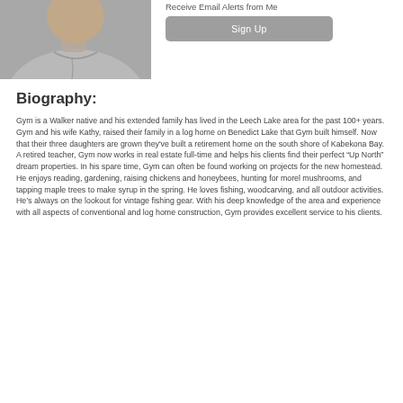[Figure (photo): Portrait photo of a man in a light grey shirt, partially visible, cropped at top and sides]
Receive Email Alerts from Me
Sign Up
Biography:
Gym is a Walker native and his extended family has lived in the Leech Lake area for the past 100+ years. Gym and his wife Kathy, raised their family in a log home on Benedict Lake that Gym built himself. Now that their three daughters are grown they've built a retirement home on the south shore of Kabekona Bay. A retired teacher, Gym now works in real estate full-time and helps his clients find their perfect “Up North” dream properties. In his spare time, Gym can often be found working on projects for the new homestead. He enjoys reading, gardening, raising chickens and honeybees, hunting for morel mushrooms, and tapping maple trees to make syrup in the spring. He loves fishing, woodcarving, and all outdoor activities. He’s always on the lookout for vintage fishing gear. With his deep knowledge of the area and experience with all aspects of conventional and log home construction, Gym provides excellent service to his clients.